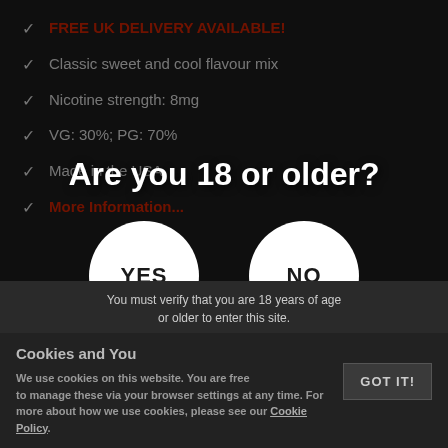FREE UK DELIVERY AVAILABLE!
Classic sweet and cool flavour mix
Nicotine strength: 8mg
VG: 30%; PG: 70%
Made in the USA
More Information...
[Figure (infographic): Age verification modal overlay with title 'Are you 18 or older?' and two circular white buttons labeled YES and NO]
Availability: In stock now
Cookies and You
You must verify that you are 18 years of age or older to enter this site.
We use cookies on this website. You are free to manage these via your browser settings at any time. For more about how we use cookies, please see our Cookie Policy.